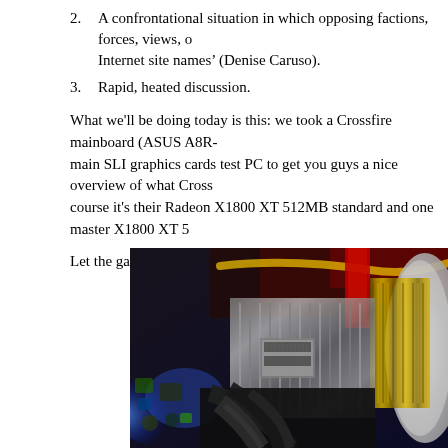2. A confrontational situation in which opposing factions, forces, views, or Internet site names’ (Denise Caruso).
3. Rapid, heated discussion.
What we’ll be doing today is this: we took a Crossfire mainboard (ASUS A8R- main SLI graphics cards test PC to get you guys a nice overview of what Cross course it’s their Radeon X1800 XT 512MB standard and one master X1800 XT 5
Let the games commence !
[Figure (photo): Close-up photograph of computer graphics cards installed on a motherboard, showing gold-plated PCIe connectors, red graphics card PCBs, silver heatsink fins, cables, and blue LED lighting in the background.]